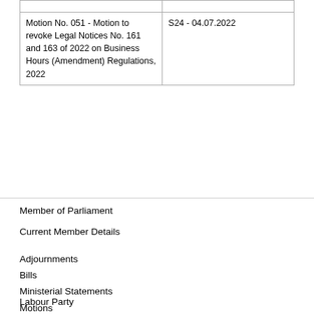|  |  |
| --- | --- |
| Motion No. 051 - Motion to revoke Legal Notices No. 161 and 163 of 2022 on Business Hours (Amendment) Regulations, 2022 | S24 - 04.07.2022 |
Member of Parliament
Current Member Details
Adjournments
Bills
Ministerial Statements
Motions
Papers Laid
Petitions
Parliamentary Questions
Rulings
PQs to the Speaker
Labour Party